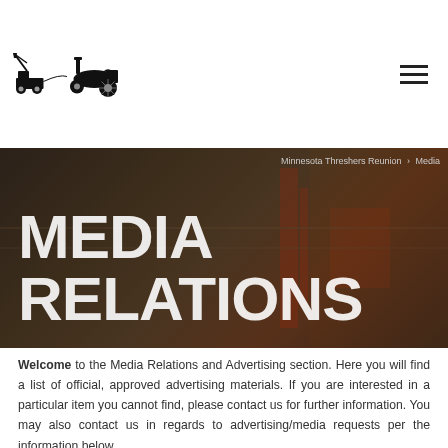[Figure (logo): Black silhouette logo of two antique farm machines/tractors side by side]
[Figure (photo): Dark background hero image showing barn interior with red machinery, overlaid with large white text MEDIA RELATIONS and breadcrumb navigation]
MEDIA RELATIONS
Welcome to the Media Relations and Advertising section. Here you will find a list of official, approved advertising materials. If you are interested in a particular item you cannot find, please contact us for further information. You may also contact us in regards to advertising/media requests per the information below.